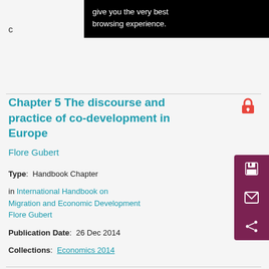give you the very best browsing experience.
Chapter 5 The discourse and practice of co-development in Europe
Flore Gubert
Type: Handbook Chapter
in International Handbook on Migration and Economic Development Flore Gubert
Publication Date: 26 Dec 2014
Collections: Economics 2014